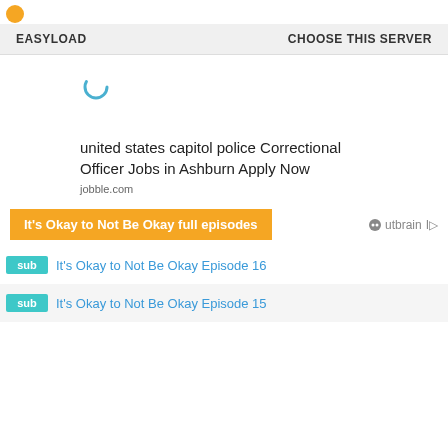[Figure (logo): Small yellow/orange circle logo in top-left corner]
EASYLOAD    CHOOSE THIS SERVER
[Figure (illustration): Loading spinner/circle icon in teal/blue color]
united states capitol police Correctional Officer Jobs in Ashburn Apply Now
jobble.com
[Figure (infographic): Orange button: It's Okay to Not Be Okay full episodes | Outbrain logo]
sub  It's Okay to Not Be Okay Episode 16
sub  It's Okay to Not Be Okay Episode 15